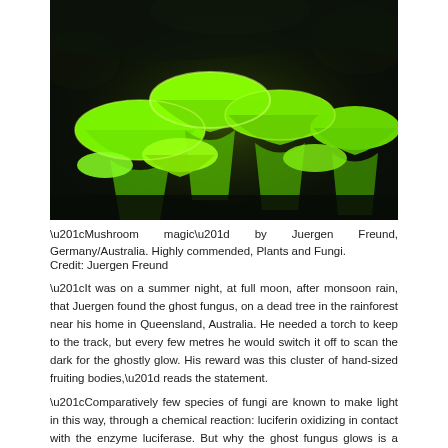[Figure (photo): Photograph of glowing green ghost fungus mushrooms on a dark background in a rainforest setting. The mushrooms emit a vivid bright green bioluminescent glow against the dark forest floor and dead wood.]
“Mushroom magic” by Juergen Freund, Germany/Australia. Highly commended, Plants and Fungi.
Credit: Juergen Freund
“It was on a summer night, at full moon, after monsoon rain, that Juergen found the ghost fungus, on a dead tree in the rainforest near his home in Queensland, Australia. He needed a torch to keep to the track, but every few metres he would switch it off to scan the dark for the ghostly glow. His reward was this cluster of hand-sized fruiting bodies,” reads the statement.
“Comparatively few species of fungi are known to make light in this way, through a chemical reaction: luciferin oxidizing in contact with the enzyme luciferase. But why the ghost fungus glows is a mystery. No